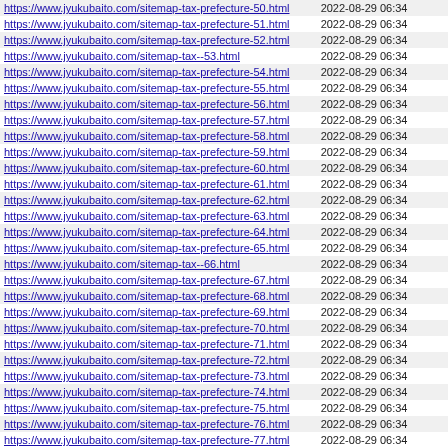| URL | Last Modified |
| --- | --- |
| https://www.jyukubaito.com/sitemap-tax-prefecture-50.html | 2022-08-29 06:34 |
| https://www.jyukubaito.com/sitemap-tax-prefecture-51.html | 2022-08-29 06:34 |
| https://www.jyukubaito.com/sitemap-tax-prefecture-52.html | 2022-08-29 06:34 |
| https://www.jyukubaito.com/sitemap-tax--53.html | 2022-08-29 06:34 |
| https://www.jyukubaito.com/sitemap-tax-prefecture-54.html | 2022-08-29 06:34 |
| https://www.jyukubaito.com/sitemap-tax-prefecture-55.html | 2022-08-29 06:34 |
| https://www.jyukubaito.com/sitemap-tax-prefecture-56.html | 2022-08-29 06:34 |
| https://www.jyukubaito.com/sitemap-tax-prefecture-57.html | 2022-08-29 06:34 |
| https://www.jyukubaito.com/sitemap-tax-prefecture-58.html | 2022-08-29 06:34 |
| https://www.jyukubaito.com/sitemap-tax-prefecture-59.html | 2022-08-29 06:34 |
| https://www.jyukubaito.com/sitemap-tax-prefecture-60.html | 2022-08-29 06:34 |
| https://www.jyukubaito.com/sitemap-tax-prefecture-61.html | 2022-08-29 06:34 |
| https://www.jyukubaito.com/sitemap-tax-prefecture-62.html | 2022-08-29 06:34 |
| https://www.jyukubaito.com/sitemap-tax-prefecture-63.html | 2022-08-29 06:34 |
| https://www.jyukubaito.com/sitemap-tax-prefecture-64.html | 2022-08-29 06:34 |
| https://www.jyukubaito.com/sitemap-tax-prefecture-65.html | 2022-08-29 06:34 |
| https://www.jyukubaito.com/sitemap-tax--66.html | 2022-08-29 06:34 |
| https://www.jyukubaito.com/sitemap-tax-prefecture-67.html | 2022-08-29 06:34 |
| https://www.jyukubaito.com/sitemap-tax-prefecture-68.html | 2022-08-29 06:34 |
| https://www.jyukubaito.com/sitemap-tax-prefecture-69.html | 2022-08-29 06:34 |
| https://www.jyukubaito.com/sitemap-tax-prefecture-70.html | 2022-08-29 06:34 |
| https://www.jyukubaito.com/sitemap-tax-prefecture-71.html | 2022-08-29 06:34 |
| https://www.jyukubaito.com/sitemap-tax-prefecture-72.html | 2022-08-29 06:34 |
| https://www.jyukubaito.com/sitemap-tax-prefecture-73.html | 2022-08-29 06:34 |
| https://www.jyukubaito.com/sitemap-tax-prefecture-74.html | 2022-08-29 06:34 |
| https://www.jyukubaito.com/sitemap-tax-prefecture-75.html | 2022-08-29 06:34 |
| https://www.jyukubaito.com/sitemap-tax-prefecture-76.html | 2022-08-29 06:34 |
| https://www.jyukubaito.com/sitemap-tax-prefecture-77.html | 2022-08-29 06:34 |